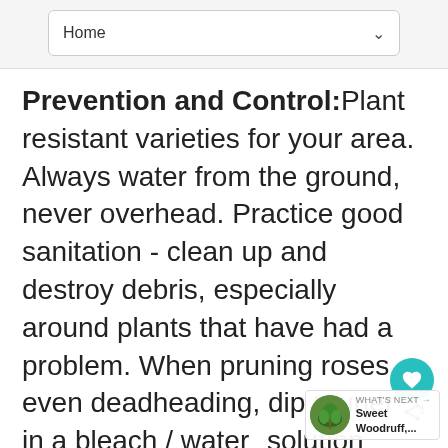Home
Prevention and Control: Plant resistant varieties for your area. Always water from the ground, never overhead. Practice good sanitation - clean up and destroy debris, especially around plants that have had a problem. When pruning roses, even deadheading, dip pruners in a bleach / water solution after each cut. If a plant seems to have chronic black spot, remove it. A 2-3 inch thick layer of mulch at the base of plants reduces splashing. Do not wait until black spot is a huge problem to control! Start early. Spray